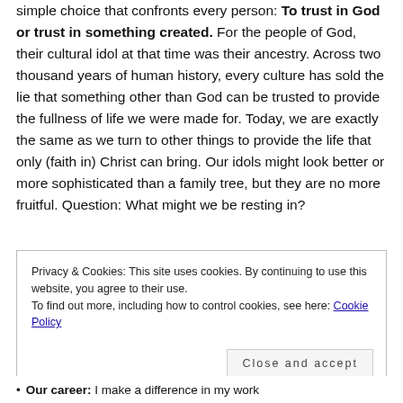simple choice that confronts every person: To trust in God or trust in something created. For the people of God, their cultural idol at that time was their ancestry. Across two thousand years of human history, every culture has sold the lie that something other than God can be trusted to provide the fullness of life we were made for. Today, we are exactly the same as we turn to other things to provide the life that only (faith in) Christ can bring. Our idols might look better or more sophisticated than a family tree, but they are no more fruitful. Question: What might we be resting in?
Privacy & Cookies: This site uses cookies. By continuing to use this website, you agree to their use.
To find out more, including how to control cookies, see here: Cookie Policy
Our career: I make a difference in my work